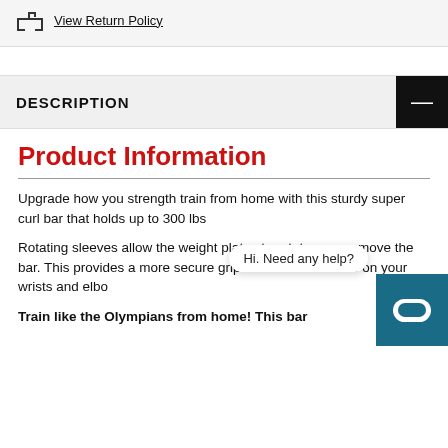View Return Policy
DESCRIPTION
Product Information
Upgrade how you strength train from home with this sturdy super curl bar that holds up to 300 lbs
Rotating sleeves allow the weight plates to rotate as you move the bar. This provides a more secure grip and reduces stress on your wrists and elbows.
Train like the Olympians from home! This bar